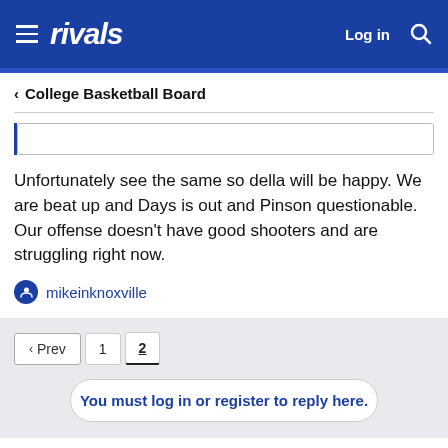rivals — Log in
< College Basketball Board
Unfortunately see the same so della will be happy. We are beat up and Days is out and Pinson questionable. Our offense doesn't have good shooters and are struggling right now.
mikeinknoxville
Prev 1 2
You must log in or register to reply here.
Similar threads